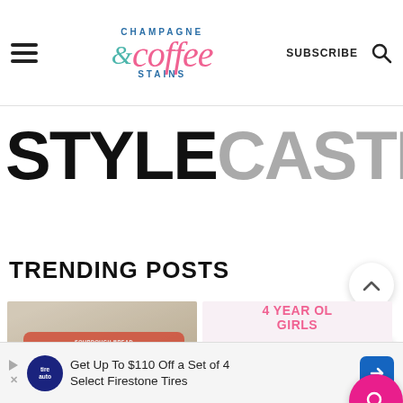Champagne & Coffee Stains — SUBSCRIBE
[Figure (logo): Champagne & Coffee Stains blog logo with stylized script font, teal ampersand, pink coffee lettering]
[Figure (logo): STYLECASTER logo in large bold sans-serif, STYLE in black, CASTER in grey]
TRENDING POSTS
[Figure (photo): Hand holding a bag of Sourdough Bread with orange label]
[Figure (photo): Gift guide for 4 year old girls text graphic with pink lettering on white background, banner saying 'that they actually want']
86
Get Up To $110 Off a Set of 4 Select Firestone Tires